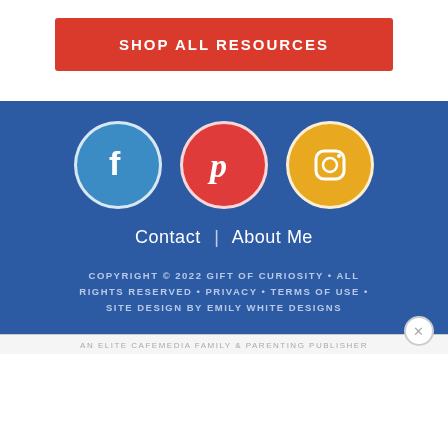[Figure (other): Red button with white bold text reading SHOP ALL RESOURCES]
[Figure (other): Three social media icons: Facebook (blue circle), Pinterest (red circle), Instagram (yellow/gold circle)]
Contact | About Me
COPYRIGHT © 2022 GIFT OF CURIOSITY • ALL RIGHTS RESERVED • PRIVACY • TERMS OF USE • SITE DESIGN BY EMILY WHITE DESIGNS
AN ELITE CAFEMEDIA FAMILY & PARENTING PUBLISHER